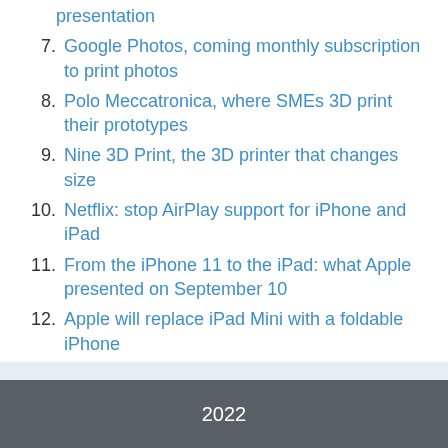presentation
7. Google Photos, coming monthly subscription to print photos
8. Polo Meccatronica, where SMEs 3D print their prototypes
9. Nine 3D Print, the 3D printer that changes size
10. Netflix: stop AirPlay support for iPhone and iPad
11. From the iPhone 11 to the iPad: what Apple presented on September 10
12. Apple will replace iPad Mini with a foldable iPhone
2022